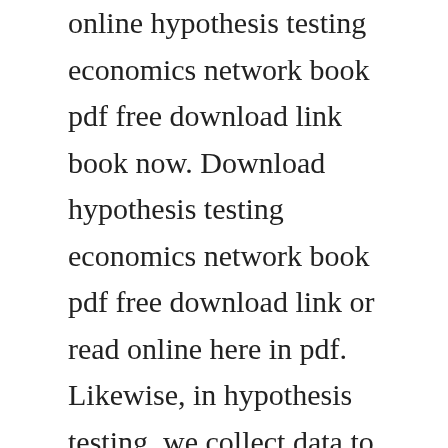online hypothesis testing economics network book pdf free download link book now. Download hypothesis testing economics network book pdf free download link or read online here in pdf. Likewise, in hypothesis testing, we collect data to show that the null hypothesis is not true, based on the likelihood of selecting a sample mean from a population the likelihood is the criterion. There are two hypotheses involved in hypothesis testing null hypothesis h 0. The null hypothesis, symbolized by h0, is a statistical hypothesis that states that there is no difference between